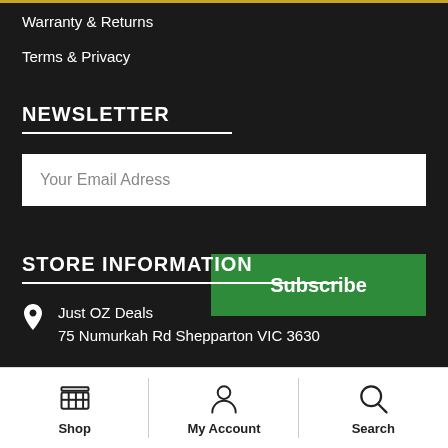Warranty & Returns
Terms & Privacy
NEWSLETTER
Your Email Adress
Subscribe
STORE INFORMATION
Just OZ Deals
75 Numurkah Rd Shepparton VIC 3630
Shop | My Account | Search